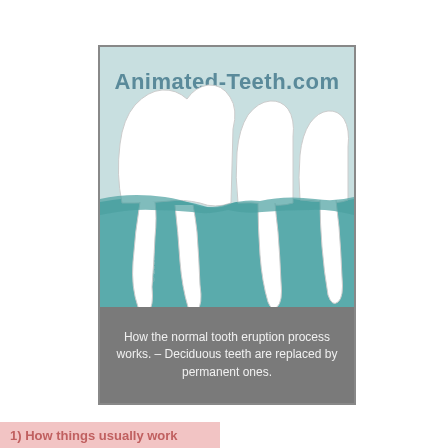[Figure (illustration): Illustration of three teeth showing the normal tooth eruption process. The teeth are white on a light blue-green background with a teal gum/jaw area. The largest tooth on the left is a molar with two roots visible below the gumline. The middle tooth is a smaller premolar. The rightmost tooth is the smallest, a single-rooted tooth. A watermark reads '© 2007 WMDS, Inc.' vertically along the left side. Above the illustration is the site logo 'Animated-Teeth.com' in bold teal/slate text.]
How the normal tooth eruption process works. – Deciduous teeth are replaced by permanent ones.
1) How things usually work